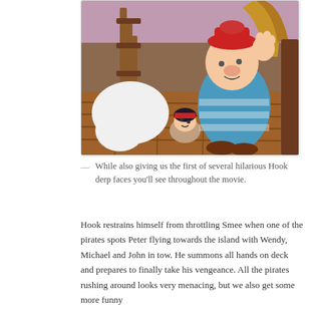[Figure (illustration): Animated Disney scene showing Captain Hook with a frustrated expression on the floor, while Smee (a large stout man in blue) stands over him on a wooden ship deck with ornate wooden furniture in the background.]
— While also giving us the first of several hilarious Hook derp faces you'll see throughout the movie.
Hook restrains himself from throttling Smee when one of the pirates spots Peter flying towards the island with Wendy, Michael and John in tow. He summons all hands on deck and prepares to finally take his vengeance. All the pirates rushing around looks very menacing, but we also get some more funny